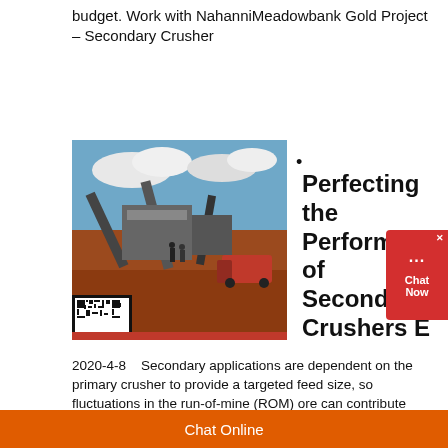budget. Work with NahanniMeadowbank Gold Project – Secondary Crusher
[Figure (photo): Photo of secondary crusher / mining equipment on a red dirt site with blue sky and clouds. A QR code is visible in the bottom-left corner of the image.]
Perfecting the Performance of Secondary Crushers E
2020-4-8   Secondary applications are dependent on the primary crusher to provide a targeted feed size, so fluctuations in the run-of-mine (ROM) ore can contribute considerably. Changes in gradation (i.e., feed getting coarser or finer), hardness, moisture or, if the work index increases or decreases, can trigger adjustments in screen panels as well as potentially
Chat Online